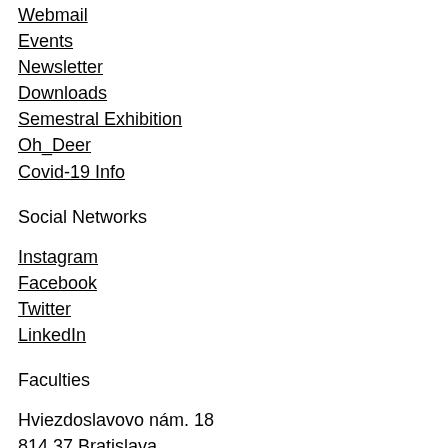Webmail
Events
Newsletter
Downloads
Semestral Exhibition
Oh_Deer
Covid-19 Info
Social Networks
Instagram
Facebook
Twitter
LinkedIn
Faculties
Hviezdoslavovo nám. 18
814 37 Bratislava
+421 948 931 501 (mob.); +421 2 5942 8500